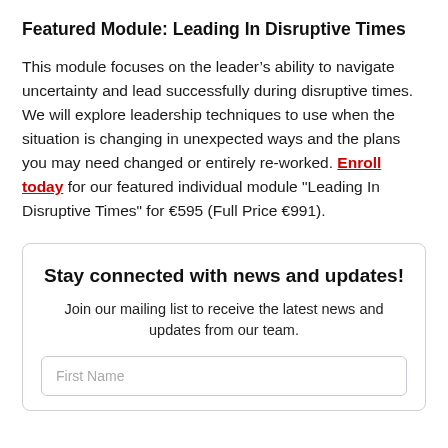Featured Module: Leading In Disruptive Times
This module focuses on the leader's ability to navigate uncertainty and lead successfully during disruptive times. We will explore leadership techniques to use when the situation is changing in unexpected ways and the plans you may need changed or entirely re-worked. Enroll today for our featured individual module "Leading In Disruptive Times" for €595 (Full Price €991).
Stay connected with news and updates!
Join our mailing list to receive the latest news and updates from our team.